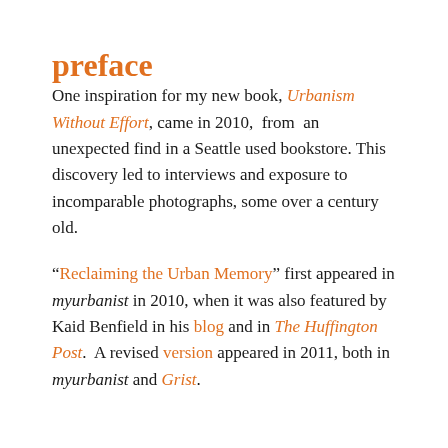preface
One inspiration for my new book, Urbanism Without Effort, came in 2010,  from  an unexpected find in a Seattle used bookstore. This discovery led to interviews and exposure to incomparable photographs, some over a century old.
“Reclaiming the Urban Memory” first appeared in myurbanist in 2010, when it was also featured by Kaid Benfield in his blog and in The Huffington Post.  A revised version appeared in 2011, both in myurbanist and Grist.